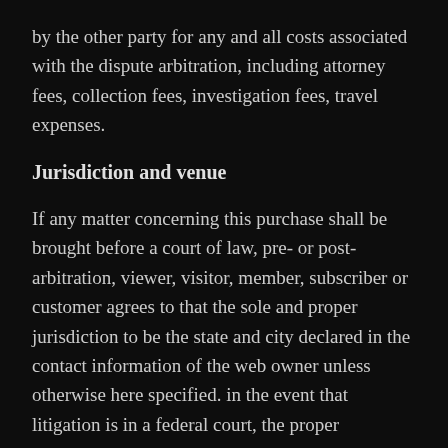by the other party for any and all costs associated with the dispute arbitration, including attorney fees, collection fees, investigation fees, travel expenses.
Jurisdiction and venue
If any matter concerning this purchase shall be brought before a court of law, pre- or post-arbitration, viewer, visitor, member, subscriber or customer agrees to that the sole and proper jurisdiction to be the state and city declared in the contact information of the web owner unless otherwise here specified. in the event that litigation is in a federal court, the proper